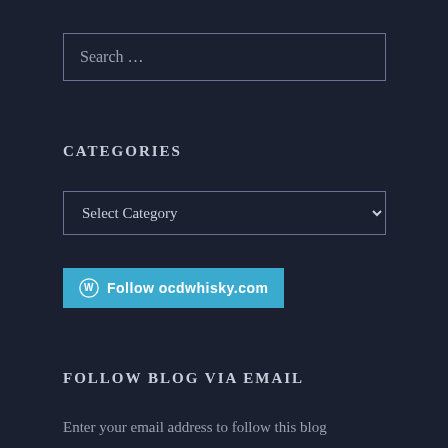Search …
CATEGORIES
Select Category
[Figure (other): WordPress Follow button: Follow ocdwhisky.com]
FOLLOW BLOG VIA EMAIL
Enter your email address to follow this blog